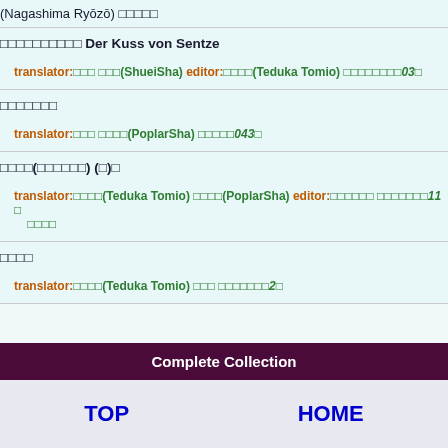(Nagashima Ryōzō) □□□□□
□□□□□□□□□□ Der Kuss von Sentze
translator:□□□ □□□(ShueiSha) editor:□□□□(Teduka Tomio) □□□□□□□□□03□
□□□□□□□
translator:□□□ □□□□(PoplarSha) □□□□□043□
□□□□(□□□□□□) (□)□
translator:□□□□(Teduka Tomio) □□□□(PoplarSha) editor:□□□□□□ □□□□□□□11 □ □□□□
□□□□
translator:□□□□(Teduka Tomio) □□□ □□□□□□□2□
Complete Collection
TOP    HOME